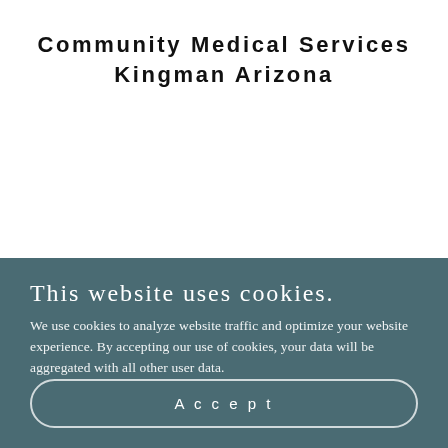Community Medical Services
Kingman Arizona
[Figure (screenshot): Video thumbnail showing a bald man with a CARF logo circle on the left. Text overlay reads 'Michael Johnson Behavioral Health Managing Director' and 'Interview with CARF Behavioral H...' with a three-dot menu icon on the right. Background is a blue gradient.]
This website uses cookies.
We use cookies to analyze website traffic and optimize your website experience. By accepting our use of cookies, your data will be aggregated with all other user data.
Accept